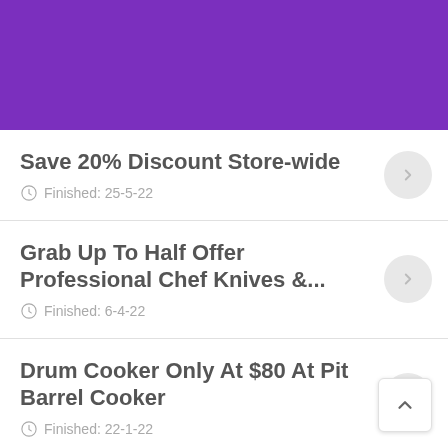[Figure (other): Purple header banner at top of page]
Save 20% Discount Store-wide
Finished: 25-5-22
Grab Up To Half Offer Professional Chef Knives &...
Finished: 6-4-22
Drum Cooker Only At $80 At Pit Barrel Cooker
Finished: 22-1-22